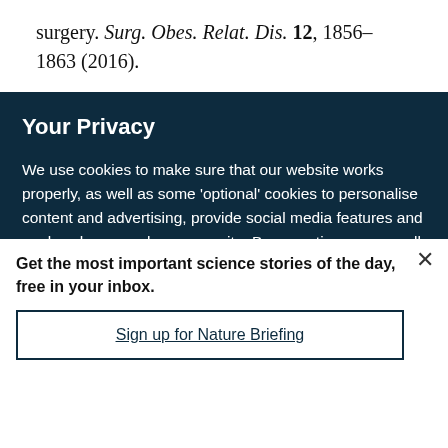surgery. Surg. Obes. Relat. Dis. 12, 1856–1863 (2016).
Your Privacy
We use cookies to make sure that our website works properly, as well as some 'optional' cookies to personalise content and advertising, provide social media features and analyse how people use our site. By accepting some or all optional cookies you give consent to the processing of your personal data, including transfer to third parties, some in countries outside of the European Economic Area that do not offer the same data protection standards as the country where you live. You can decide which optional cookies to accept by clicking on 'Manage Settings', where you can
Get the most important science stories of the day, free in your inbox.
Sign up for Nature Briefing